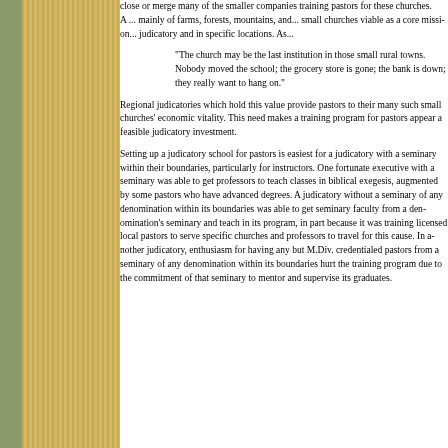close or merge many of the smaller co... training pastors for these churches. A ... mainly of farms, forests, mountains, an... small churches viable as a core missi... judicatory and in specific locations. As...
"The church may be the last ins... those small rural towns. Nobod... the school; the grocery store is g... down; they really want to hang o..."
Regional judicatories which hold this va... provide pastors to their many such sma... economic vitality. This need makes a t... pastors appear a feasible judicatory inv...
Setting up a judicatory school for pasto... seminary within their boundaries, partic... instructors. One fortunate executive wi... professors to teach classes in biblical e... augmented by some pastors who have... judicatory without a seminary of any den... able to get seminary faculty from a den... and teach in its program, in part becau... licensed local pastors to serve specific... professors to travel for this cause. In a... enthusiasm for having any but M.Div. c... seminary of any denomination within its... training program due to the commitmen... mentor and supervise its graduates.